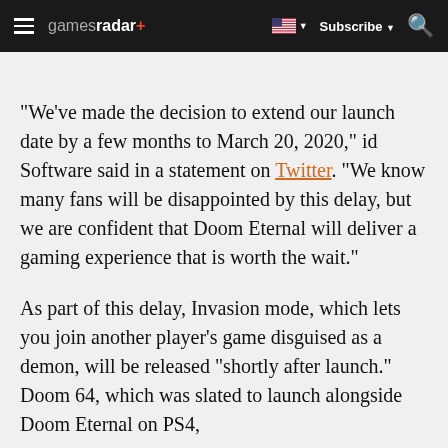gamesradar+ | Subscribe | Search
"We've made the decision to extend our launch date by a few months to March 20, 2020," id Software said in a statement on Twitter. "We know many fans will be disappointed by this delay, but we are confident that Doom Eternal will deliver a gaming experience that is worth the wait."
As part of this delay, Invasion mode, which lets you join another player's game disguised as a demon, will be released "shortly after launch." Doom 64, which was slated to launch alongside Doom Eternal on PS4,